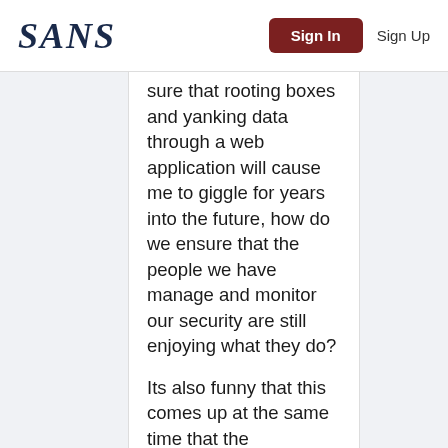SANS | Sign In | Sign Up
sure that rooting boxes and yanking data through a web application will cause me to giggle for years into the future, how do we ensure that the people we have manage and monitor our security are still enjoying what they do?
Its also funny that this comes up at the same time that the mainstream now...